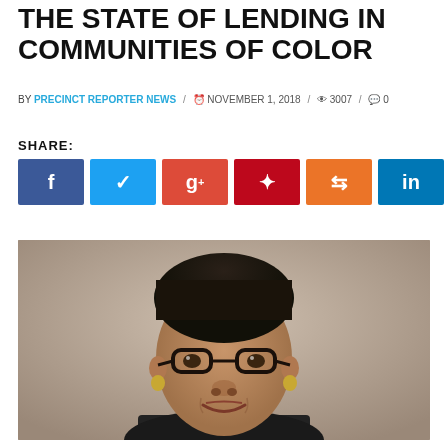THE STATE OF LENDING IN COMMUNITIES OF COLOR
BY PRECINCT REPORTER NEWS / NOVEMBER 1, 2018 / 3007 / 0
SHARE:
[Figure (photo): Portrait photograph of a middle-aged Black woman with glasses, short hair, wearing a dark top and gold earrings, smiling at the camera against a blurred outdoor background.]